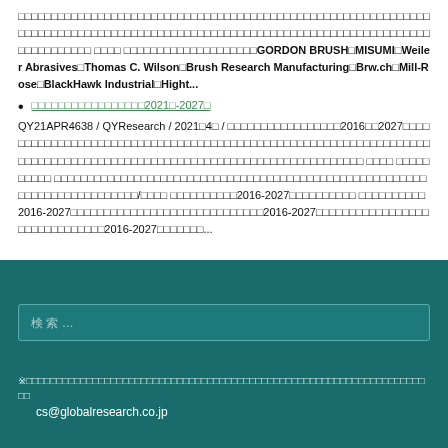□□□□□□□□□□□□□□□□□□□□□□□□□□□□□□□□□□□□□□□□□□□□□□□□□□□□□□□□□□□□□□□□□□□□□□□□□□□□□□□□□□□□□□□□□□□□□□□□□□□□□□□□□□□□□□□□□□□□□□□□□□□□□□□□□□□□□□□ □□□□ □□□□□□□□□□□□□□□□□□□□GORDON BRUSH□MISUMI□Weiler Abrasives□Thomas C. Wilson□Brush Research Manufacturing□Brw.ch□Mill-Rose□BlackHawk Industrial□Hight...
□□□□□□□□□□□□□□□□□2021□-2027□
QY21APR4638 / QYResearch / 2021□4□ / □□□□□□□□□□□□□□□□□2016□□2027□□□□□□□□□□□□□□□□□□□□□□□□□□□□□□□□□□□□□□□□□□□□□□□□□□□□□□□□□□□□□□□□□□□□□□□□□□□□□□□□□□□□□□□□□□□□□□□□□□□□□□□□□□□□□□□□□□□□□□ □□□□ □□□□□□□□□□ □□□□□□□□□□□□□□□□□□□□□□□□□□□□□□□□□□□□□□□□□□□□□□□□□□□□□□□□□□□□□□□□□□□□□□□□□□/□□□□ □□□□□□□□□□2016-2027□□□□□□□□□□ □□□□□□□□□□2016-2027□□□□□□□□□□□□□□□□□□□□□□□□□□□□□2016-2027□□□□□□□□□□□□□□□□□ □□□□□□□□□□□□□2016-2027□□□□□□□...
※□□□□□□□□□□□□□□□□□□□□□□□□□□□□□□□□□□□□□□□□□□□□□□□□□□□□□□□□□□□□□□□□□□□□
cs@globalresearch.co.jp